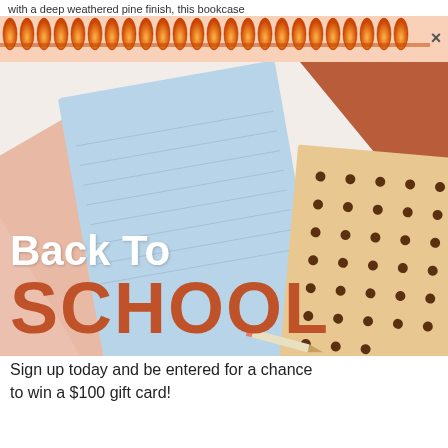with a deep weathered pine finish, this bookcase
[Figure (illustration): Spiral notebook binding strip at top of page with orange flame-like coil decoration and X close button on right side]
[Figure (photo): Overlapping notebooks and notepads in pastel colors — light blue, pink/peach, tan with dark polka dots, and terracotta/rust — arranged on a white background with a pencil visible]
Back To SCHOOL
Sign up today and be entered for a chance to win a $100 gift card!